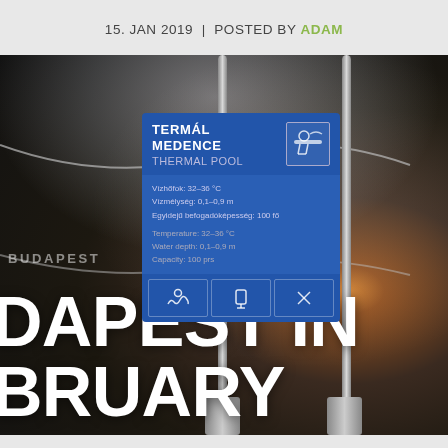15. JAN 2019 | POSTED BY ADAM
[Figure (photo): Outdoor thermal pool sign at a Budapest spa, reading 'TERMÁL MEDENCE / THERMAL POOL' in blue with details in Hungarian and English (Temperature: 32-36°C, Water depth: 0.1-0.9m, Capacity: 100 prs), mounted on metal poles with steam/fog in background at night. Large white text overlay reads 'BUDAPEST IN FEBRUARY' with partial cropping.]